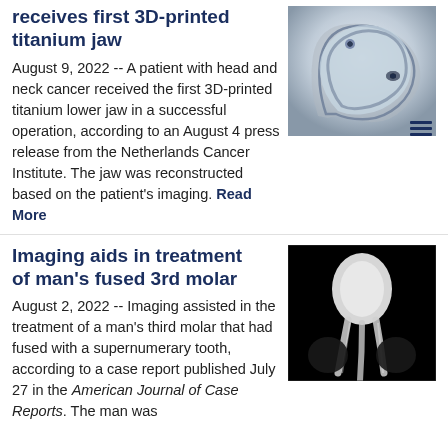receives first 3D-printed titanium jaw
[Figure (photo): 3D-printed titanium jaw implant, metallic curved bone-shaped structure on light background]
August 9, 2022 -- A patient with head and neck cancer received the first 3D-printed titanium lower jaw in a successful operation, according to an August 4 press release from the Netherlands Cancer Institute. The jaw was reconstructed based on the patient's imaging. Read More
Imaging aids in treatment of man's fused 3rd molar
[Figure (photo): Black and white dental X-ray showing a molar tooth with roots]
August 2, 2022 -- Imaging assisted in the treatment of a man's third molar that had fused with a supernumerary tooth, according to a case report published July 27 in the American Journal of Case Reports. The man was